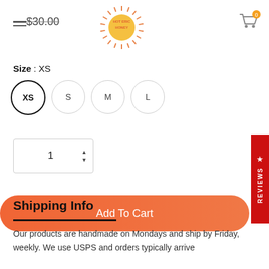$30.00
[Figure (logo): Hot Eric Honey sun logo with radiating rays and text]
[Figure (illustration): Shopping cart icon with badge showing 0]
Size : XS
XS  S  M  L (size selector buttons)
1 (quantity input with up/down arrows)
Add To Cart
Shipping Info
Our products are handmade on Mondays and ship by Friday, weekly. We use USPS and orders typically arrive